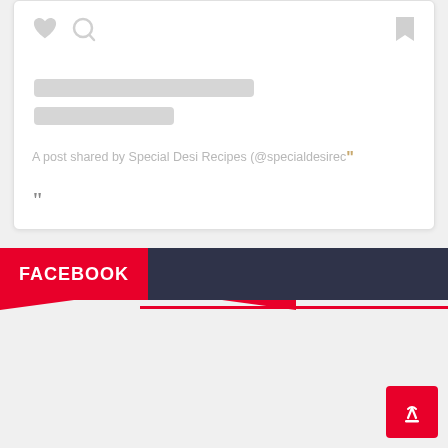[Figure (screenshot): Social media post card placeholder with heart and search icons on left, bookmark icon on right, two grey placeholder lines, quote text 'A post shared by Special Desi Recipes (@specialdesirecipes)' with golden closing quote marks, and a grey double-quote mark at bottom left.]
A post shared by Special Desi Recipes (@specialdesirec
FACEBOOK
[Figure (infographic): Red FACEBOOK label banner on left with dark navy blue background extending to the right, and red border line at bottom.]
[Figure (other): Red scroll-to-top button with hand pointer icon at bottom right corner.]